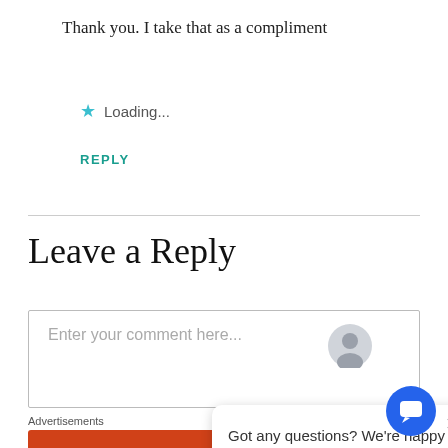Thank you. I take that as a compliment
Loading...
REPLY
Leave a Reply
Enter your comment here...
[Figure (screenshot): Comment text input box placeholder]
[Figure (screenshot): Chat popup: Got any questions? We're happy to help.]
Advertisements
[Figure (screenshot): DuckDuckGo ad banner: Search, browse, and email with more privacy. All in One Free App]